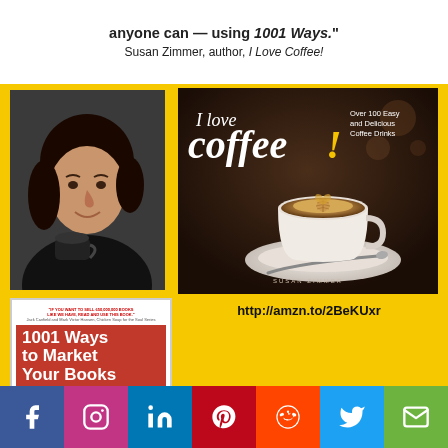anyone can — using 1001 Ways."
Susan Zimmer, author, I Love Coffee!
[Figure (photo): Author Susan Zimmer holding a coffee cup, head and shoulders portrait photo]
[Figure (photo): Book cover of '1001 Ways to Market Your Books' by John Kremer, Real World Edition, with 'Sell More Books' graphic]
[Figure (photo): Book cover of 'I Love Coffee! Over 100 Easy and Delicious Coffee Drinks' by Susan Zimmer, showing a latte art coffee cup on a saucer]
http://amzn.to/2BeKUxr
BookMarketingBestsellers.com
[Figure (infographic): Social media share bar with icons: Facebook, Instagram, LinkedIn, Pinterest, Reddit, Twitter, Email]